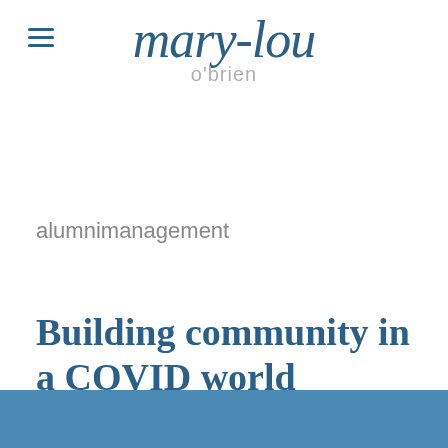≡ mary-lou o'brien
alumnimanagement
Building community in a COVID world
[Figure (photo): A partial photo strip at the bottom of the page showing a blue-toned image, likely an outdoor scene or people gathering.]